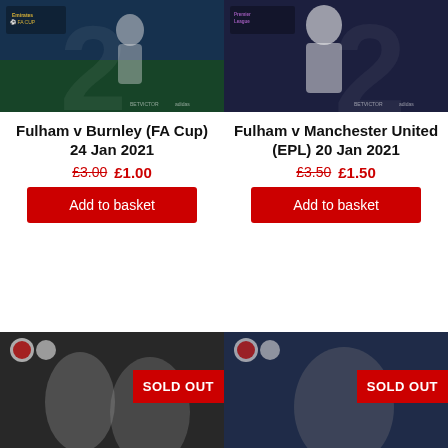[Figure (photo): Fulham v Burnley FA Cup programme cover showing a footballer, with Emirates FA Cup branding]
Fulham v Burnley (FA Cup) 24 Jan 2021
£3.00 £1.00
Add to basket
[Figure (photo): Fulham v Manchester United EPL programme cover showing a player in white, Premier League branding]
Fulham v Manchester United (EPL) 20 Jan 2021
£3.50 £1.50
Add to basket
[Figure (photo): Fulham match programme cover in black and white with SOLD OUT badge]
[Figure (photo): Fulham match programme cover in black and white with SOLD OUT badge]